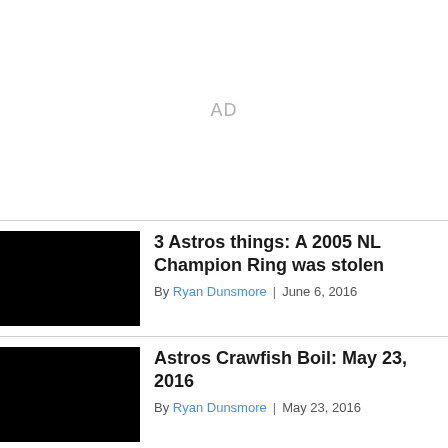AD
3 Astros things: A 2005 NL Champion Ring was stolen
By Ryan Dunsmore | June 6, 2016
Astros Crawfish Boil: May 23, 2016
By Ryan Dunsmore | May 23, 2016